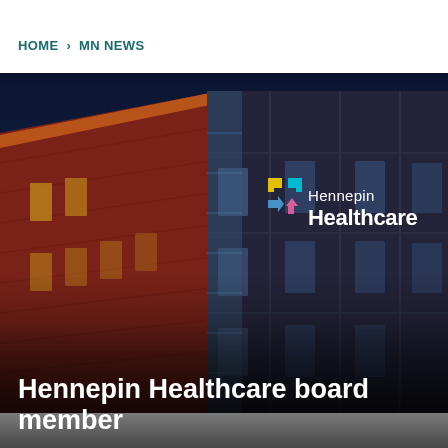HOME > MN NEWS
[Figure (photo): Hennepin Healthcare building exterior at night, illuminated sign reading 'Hennepin Healthcare' with colorful arrow logo against dark blue sky]
Hennepin Healthcare board member